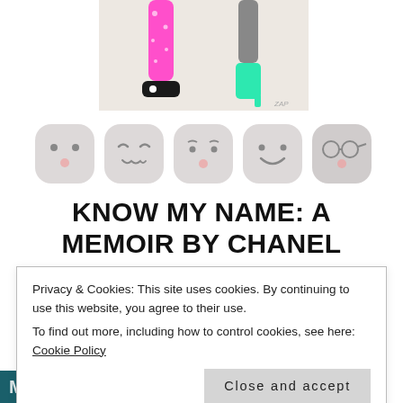[Figure (illustration): Partial illustration of two figures' legs — one wearing bright pink patterned tights with black sneakers, another wearing grey tights with a teal/mint heeled boot, against a cream background]
[Figure (illustration): Row of five rounded square emoji-style faces with various expressions — neutral, content/sleepy, sad/worried, happy, glasses-wearing — in light grey with pink cheeks]
KNOW MY NAME: A MEMOIR BY CHANEL MILLER
Privacy & Cookies: This site uses cookies. By continuing to use this website, you agree to their use.
To find out more, including how to control cookies, see here: Cookie Policy
Close and accept
[Figure (illustration): Partial text on teal/dark green background showing partial letters of 'MY NAME']